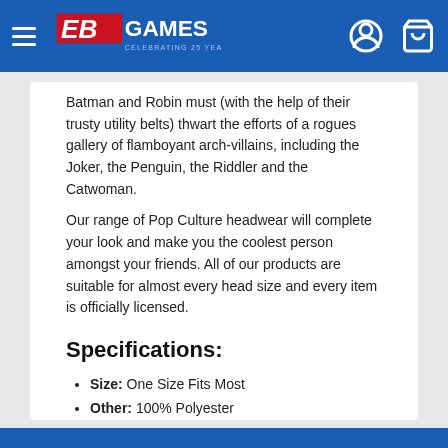EB Games — Celebrating 25 Years
Batman and Robin must (with the help of their trusty utility belts) thwart the efforts of a rogues gallery of flamboyant arch-villains, including the Joker, the Penguin, the Riddler and the Catwoman.
Our range of Pop Culture headwear will complete your look and make you the coolest person amongst your friends. All of our products are suitable for almost every head size and every item is officially licensed.
Specifications:
Size: One Size Fits Most
Other: 100% Polyester
Official DC Comics licensed merchandise